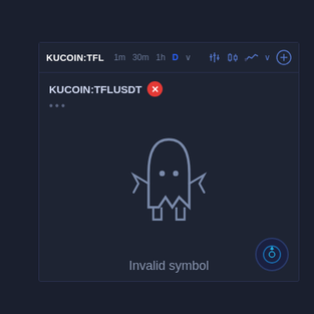KUCOIN:TFL  1m  30m  1h  D
KUCOIN:TFLUSDT
...
[Figure (illustration): Ghost/robot mascot illustration indicating an error — a gray outlined ghost-like figure with two dot eyes, arms akimbo, and blocky legs]
Invalid symbol